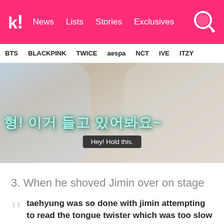Koreaboo — News | Lists | Stories | Exclusives
BTS  BLACKPINK  TWICE  aespa  NCT  IVE  ITZY
[Figure (screenshot): Video screenshot showing Korean subtitle text '형! 이거 들고 있어봐요~' with English subtitle 'Hey! Hold this.']
3. When he shoved Jimin over on stage
taehyung was so done with jimin attempting to read the tongue twister which was too slow so he kicked him b...